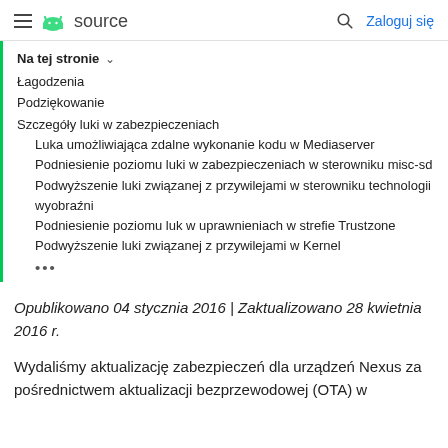≡ 🤖 source  🔍 Zaloguj się
Na tej stronie ∨
Łagodzenia
Podziękowanie
Szczegóły luki w zabezpieczeniach
Luka umożliwiająca zdalne wykonanie kodu w Mediaserver
Podniesienie poziomu luki w zabezpieczeniach w sterowniku misc-sd
Podwyższenie luki związanej z przywilejami w sterowniku technologii wyobraźni
Podniesienie poziomu luk w uprawnieniach w strefie Trustzone
Podwyższenie luki związanej z przywilejami w Kernel
•••
Opublikowano 04 stycznia 2016 | Zaktualizowano 28 kwietnia 2016 r.
Wydaliśmy aktualizację zabezpieczeń dla urządzeń Nexus za pośrednictwem aktualizacji bezprzewodowej (OTA) w